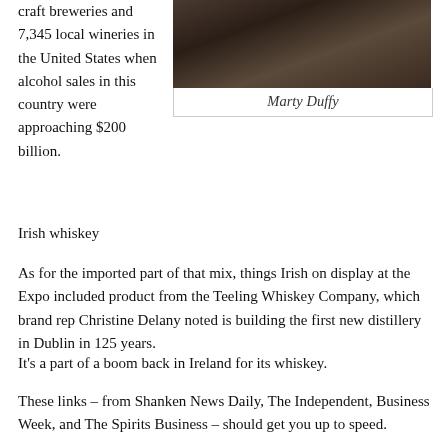craft breweries and 7,345 local wineries in the United States when alcohol sales in this country were approaching $200 billion.
[Figure (photo): Dark photograph of people or barrels in a dimly lit setting, captioned 'Marty Duffy']
Marty Duffy
Irish whiskey
As for the imported part of that mix, things Irish on display at the Expo included product from the Teeling Whiskey Company, which brand rep Christine Delany noted is building the first new distillery in Dublin in 125 years.
It’s a part of a boom back in Ireland for its whiskey.
These links – from Shanken News Daily, The Independent, Business Week, and The Spirits Business – should get you up to speed.